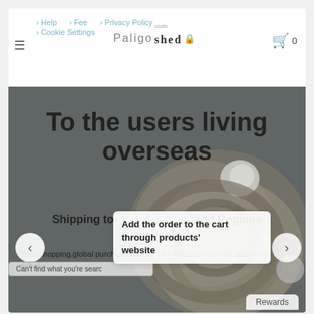→ Help  → Fee  → Privacy Policy  → Cookie Settings  Paligo studio shed 🔒  🛒 0
[Figure (photo): Dark gray background with a knitted rope/chain ball in the foreground, hero image for a shopping website about overseas shipping]
To the users living overseas
Shipping to 228 Countries and Regions available
WorldShopping.global purchases product for the customer and delivers it globally.
Add the order to the cart through products' website
Can't find what you're searc
Rewards